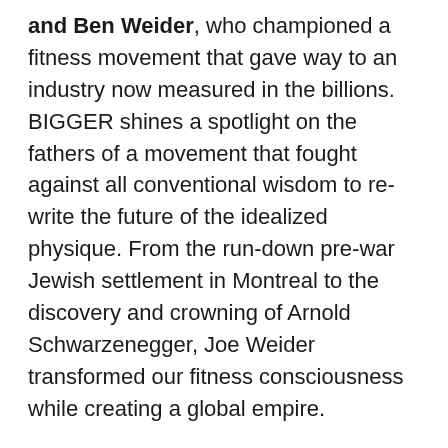and Ben Weider, who championed a fitness movement that gave way to an industry now measured in the billions. BIGGER shines a spotlight on the fathers of a movement that fought against all conventional wisdom to re-write the future of the idealized physique. From the run-down pre-war Jewish settlement in Montreal to the discovery and crowning of Arnold Schwarzenegger, Joe Weider transformed our fitness consciousness while creating a global empire.
Steve Lee Jones, the producer whose Bee Holder Productions banner gave life to the Dr. Kevorkian biopic YOU DON'T KNOW JACK (2011) starring Al Pacino, is ready to show the world a movie that has already enjoyed its share of Hollywood buzz. Jones explains, "BIGGER is a powerful film that